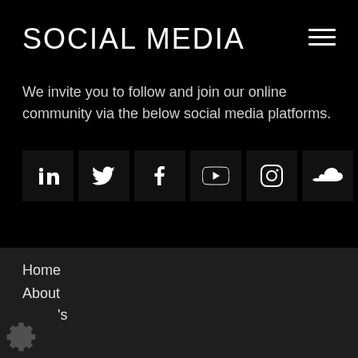SOCIAL MEDIA
We invite you to follow and join our online community via the below social media platforms.
[Figure (infographic): Row of six dark social media icon boxes: LinkedIn, Twitter, Facebook, YouTube, Instagram, SoundCloud]
Home
About
's